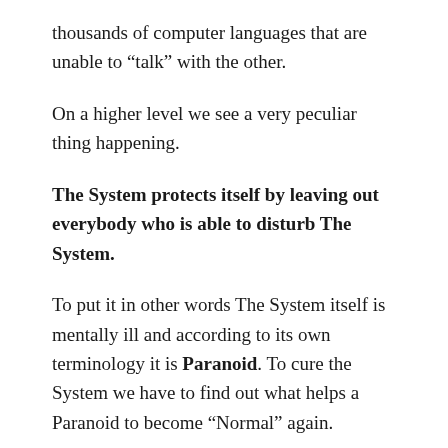thousands of computer languages that are unable to “talk” with the other.
On a higher level we see a very peculiar thing happening.
The System protects itself by leaving out everybody who is able to disturb The System.
To put it in other words The System itself is mentally ill and according to its own terminology it is Paranoid. To cure the System we have to find out what helps a Paranoid to become “Normal” again.
To become mentally ill you have to go the specialist